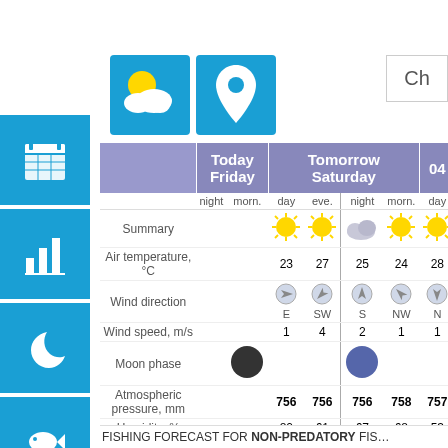[Figure (infographic): Weather forecast table with icons for today (Friday) and tomorrow (Saturday), showing summary icons (sun/cloud), air temperature, wind direction and speed, moon phase, atmospheric pressure, and humidity.]
|  | Today Friday day | Today Friday eve. | Tomorrow Saturday night | Tomorrow Saturday morn. | Tomorrow Saturday day | Tomorrow Saturday eve. | 04 night |
| --- | --- | --- | --- | --- | --- | --- | --- |
| Summary | ☀ | ☀ | ☁ | ☀ | ☀ | ☀ | ☁ |
| Air temperature, °C | 23 | 27 | 25 | 24 | 28 | 31 | 30 |
| Wind direction | E | SW | S | NW | N | SW | SW |
| Wind speed, m/s | 1 | 4 | 2 | 1 | 1 | 4 | 1 |
| Moon phase |  |  |  |  |  |  |  |
| Atmospheric pressure, mm | 756 | 756 | 756 | 758 | 757 | 757 | 756 |
| Humidity, % | 80 | 61 | 67 | 68 | 53 | 45 | 40 |
FISHING FORECAST FOR NON-PREDATORY FIS…